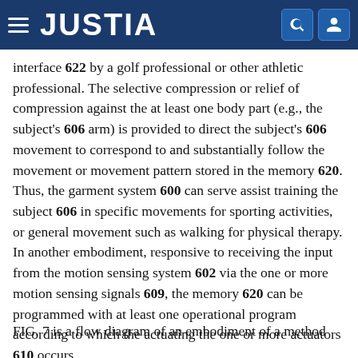JUSTIA
interface 622 by a golf professional or other athletic professional. The selective compression or relief of compression against the at least one body part (e.g., the subject's 606 arm) is provided to direct the subject's 606 movement to correspond to and substantially follow the movement or movement pattern stored in the memory 620. Thus, the garment system 600 can serve assist training the subject 606 in specific movements for sporting activities, or general movement such as walking for physical therapy. In another embodiment, responsive to receiving the input from the motion sensing system 602 via the one or more motion sensing signals 609, the memory 620 can be programmed with at least one operational program according to which the actuating the one or more actuators 610 occurs.
FIG. 7 is a flow diagram of an embodiment of a method